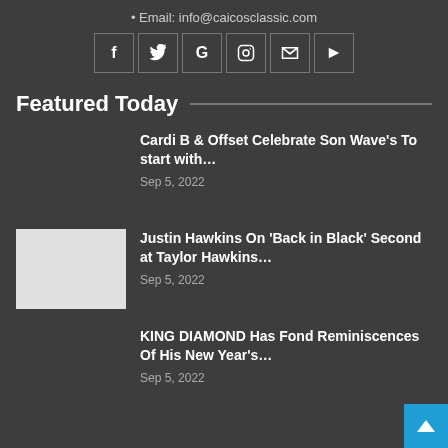• Email: info@caicosclassic.com
[Figure (infographic): Social media icons row: Facebook, Twitter, Google, Instagram, Email, YouTube]
Featured Today
Cardi B & Offset Celebrate Son Wave's To start with… — Sep 5, 2022
Justin Hawkins On 'Back in Black' Second at Taylor Hawkins… — Sep 5, 2022
KING DIAMOND Has Fond Reminiscences Of His New Year's… — Sep 5, 2022